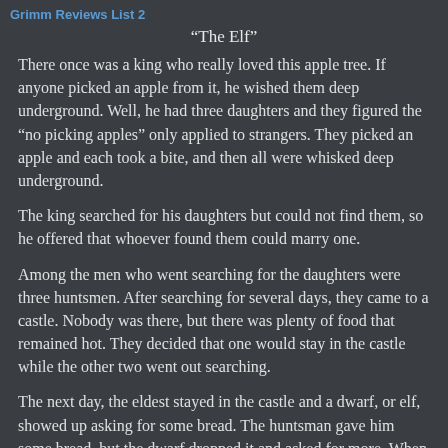Grimm Reviews List 2
“The Elf”
There once was a king who really loved this apple tree. If anyone picked an apple from it, he wished them deep underground. Well, he had three daughters and they figured the “no picking apples” only applied to strangers. They picked an apple and each took a bite, and then all were whisked deep underground.
The king searched for his daughters but could not find them, so he offered that whoever found them could marry one.
Among the men who went searching for the daughters were three huntsmen. After searching for several days, they came to a castle. Nobody was there, but there was plenty of food that remained hot. They decided that one would stay in the castle while the other two went out searching.
The next day, the eldest stayed in the castle and a dwarf, or elf, showed up asking for some bread. The huntsman gave him some bread, but the dwarf dropped it and asked for more. When the huntsman went to give him more, the dwarf took a stick and beat him.
The next day, the middle huntsman stayed at the castle and the